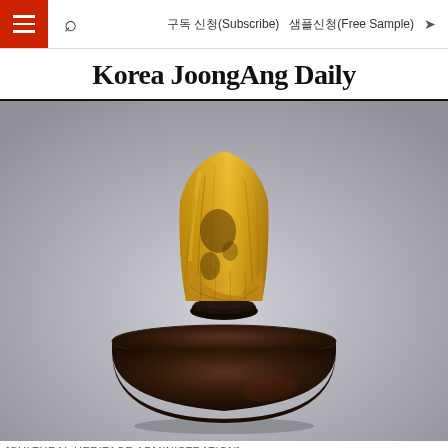구독 신청(Subscribe)   샘플신청(Free Sample)
Korea JoongAng Daily
[Figure (photo): A gilded Buddhist statue with gold-colored upper body and dark rounded base, photographed against a gray gradient background. The statue shows the torso and robes with some worn/darkened patches. The base is a large dark brown/black rounded dome shape.]
[CULTURAL HERITAGE ADMINISTRATION]